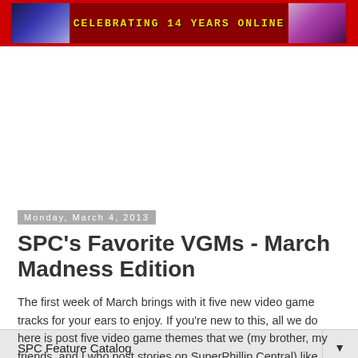CELEBRATING 14 YEARS ONLINE
SPC Feature Catalog ▼
Monday, March 4, 2013
SPC's Favorite VGMs - March Madness Edition
The first week of March brings with it five new video game tracks for your ears to enjoy. If you're new to this, all we do here is post five video game themes that we (my brother, my friends, and I who post stories on SuperPhillip Central) like most. Well, your old friend SuperPhillip here does the brunt of the work, writing all the anecdotes tied to each game, but